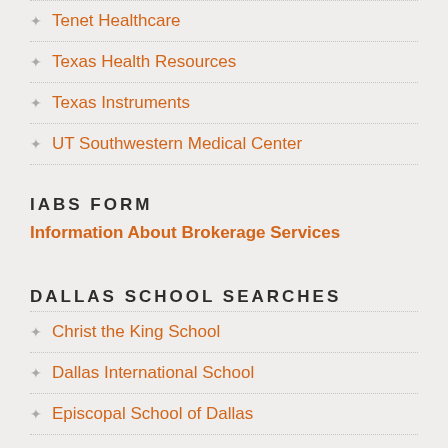Tenet Healthcare
Texas Health Resources
Texas Instruments
UT Southwestern Medical Center
IABS FORM
Information About Brokerage Services
DALLAS SCHOOL SEARCHES
Christ the King School
Dallas International School
Episcopal School of Dallas
Fairhill School
Greenhill School
Shelton